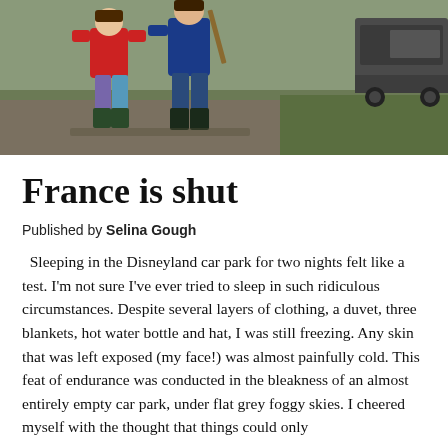[Figure (photo): Two children in wellington boots and colourful jackets (one red, one blue) playing outdoors on a grassy/muddy area. A vehicle is partially visible in the background on the right.]
France is shut
Published by Selina Gough
Sleeping in the Disneyland car park for two nights felt like a test. I'm not sure I've ever tried to sleep in such ridiculous circumstances. Despite several layers of clothing, a duvet, three blankets, hot water bottle and hat, I was still freezing. Any skin that was left exposed (my face!) was almost painfully cold. This feat of endurance was conducted in the bleakness of an almost entirely empty car park, under flat grey foggy skies. I cheered myself with the thought that things could only